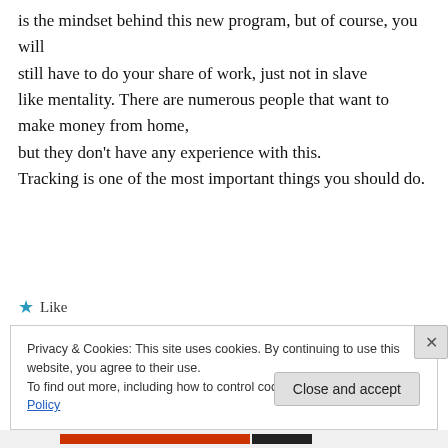is the mindset behind this new program, but of course, you will still have to do your share of work, just not in slave like mentality. There are numerous people that want to make money from home, but they don't have any experience with this. Tracking is one of the most important things you should do.
★ Like
Privacy & Cookies: This site uses cookies. By continuing to use this website, you agree to their use. To find out more, including how to control cookies, see here: Cookie Policy
Close and accept